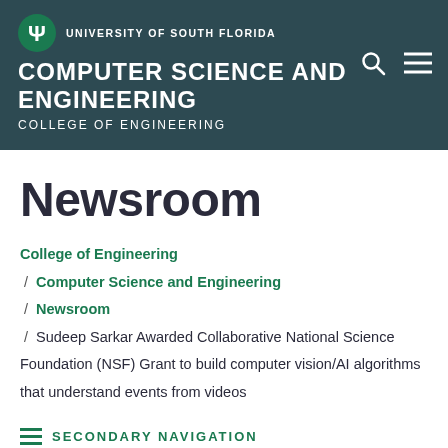UNIVERSITY OF SOUTH FLORIDA — COMPUTER SCIENCE AND ENGINEERING — COLLEGE OF ENGINEERING
Newsroom
College of Engineering / Computer Science and Engineering / Newsroom / Sudeep Sarkar Awarded Collaborative National Science Foundation (NSF) Grant to build computer vision/AI algorithms that understand events from videos
SECONDARY NAVIGATION